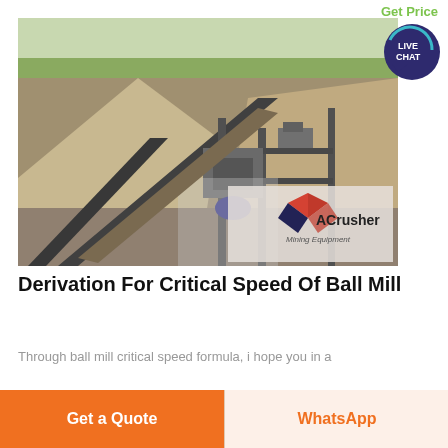Get Price
[Figure (photo): Industrial mining/crushing plant with conveyor belts, machinery, and gravel piles. ACrusher Mining Equipment logo visible in lower right of image.]
Derivation For Critical Speed Of Ball Mill
Through ball mill critical speed formula, i hope you in a
[Figure (other): Live Chat speech bubble button in teal/dark blue color with white text LIVE CHAT]
Get a Quote
WhatsApp